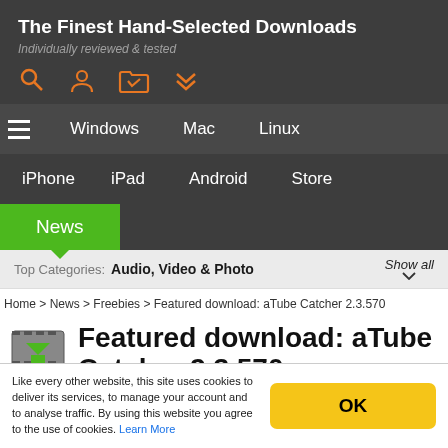The Finest Hand-Selected Downloads
Individually reviewed & tested
Windows | Mac | Linux | iPhone | iPad | Android | Store
News
Top Categories: Audio, Video & Photo  Show all
Home > News > Freebies > Featured download: aTube Catcher 2.3.570
Featured download: aTube Catcher 2.3.570
Like every other website, this site uses cookies to deliver its services, to manage your account and to analyse traffic. By using this website you agree to the use of cookies. Learn More